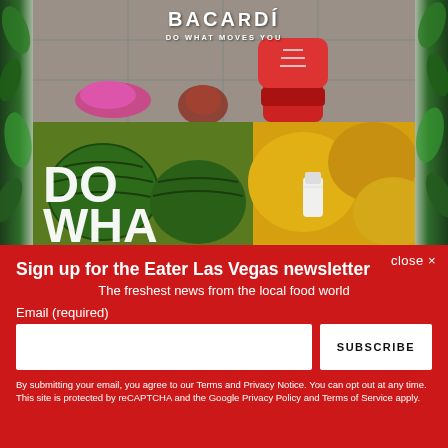[Figure (photo): Bacardi advertisement showing feet/shoes at top and watermelons/fruits at bottom with tropical green leaf borders. Text overlay reads 'DO WHAT' in large white bold letters. Bacardi logo with 'DO WHAT MOVES YOU' tagline visible.]
close ×
Sign up for the Eater Las Vegas newsletter
The freshest news from the local food world
Email (required)
SUBSCRIBE
By submitting your email, you agree to our Terms and Privacy Notice. You can opt out at any time. This site is protected by reCAPTCHA and the Google Privacy Policy and Terms of Service apply.